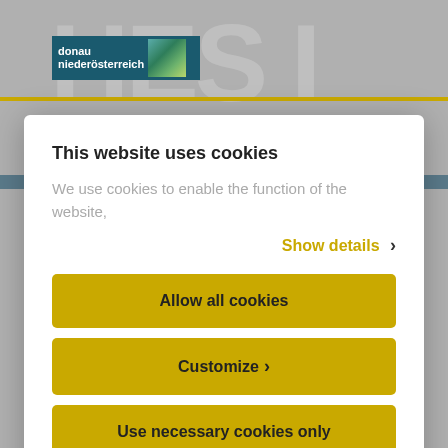[Figure (screenshot): Website background with large light gray letters 'HES I' partially visible, and a regional logo for 'donau niederösterreich' in the top left corner]
This website uses cookies
We use cookies to enable the function of the website,
Show details ›
Allow all cookies
Customize ›
Use necessary cookies only
Powered by Cookiebot by Usercentrics